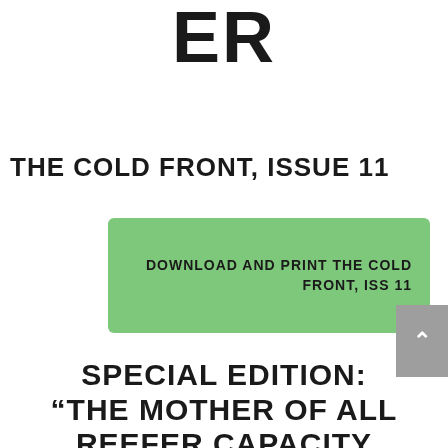ER
THE COLD FRONT, ISSUE 11
DOWNLOAD AND PRINT THE COLD FRONT, ISS 11
SPECIAL EDITION: “THE MOTHER OF ALL REEFER CAPACITY SHORTAGE?”